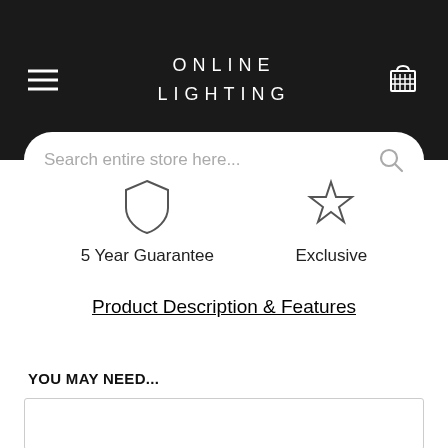ONLINE LIGHTING
Search entire store here...
[Figure (illustration): Shield icon representing 5 Year Guarantee]
5 Year Guarantee
[Figure (illustration): Star icon representing Exclusive]
Exclusive
Product Description & Features
YOU MAY NEED...